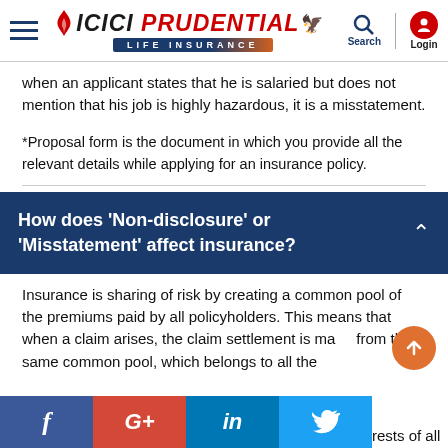[Figure (logo): ICICI Prudential Life Insurance logo with hamburger menu, search and login icons in page header]
when an applicant states that he is salaried but does not mention that his job is highly hazardous, it is a misstatement.
*Proposal form is the document in which you provide all the relevant details while applying for an insurance policy.
How does 'Non-disclosure' or 'Misstatement' affect insurance?
Insurance is sharing of risk by creating a common pool of the premiums paid by all policyholders. This means that when a claim arises, the claim settlement is made from the same common pool, which belongs to all the
rests of all